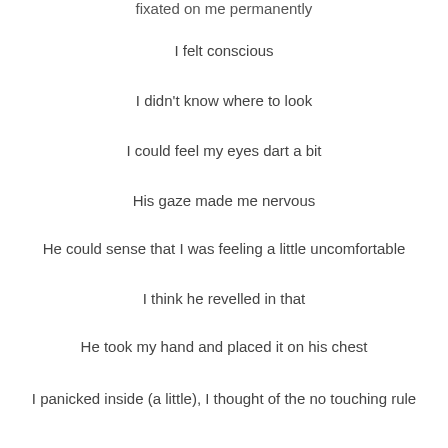fixated on me permanently
I felt conscious
I didn't know where to look
I could feel my eyes dart a bit
His gaze made me nervous
He could sense that I was feeling a little uncomfortable
I think he revelled in that
He took my hand and placed it on his chest
I panicked inside (a little), I thought of the no touching rule